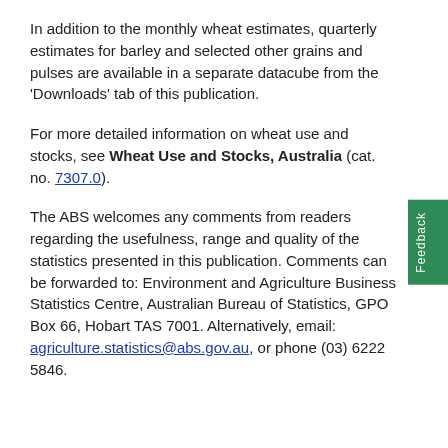In addition to the monthly wheat estimates, quarterly estimates for barley and selected other grains and pulses are available in a separate datacube from the 'Downloads' tab of this publication.
For more detailed information on wheat use and stocks, see Wheat Use and Stocks, Australia (cat. no. 7307.0).
The ABS welcomes any comments from readers regarding the usefulness, range and quality of the statistics presented in this publication. Comments can be forwarded to: Environment and Agriculture Business Statistics Centre, Australian Bureau of Statistics, GPO Box 66, Hobart TAS 7001. Alternatively, email: agriculture.statistics@abs.gov.au, or phone (03) 6222 5846.